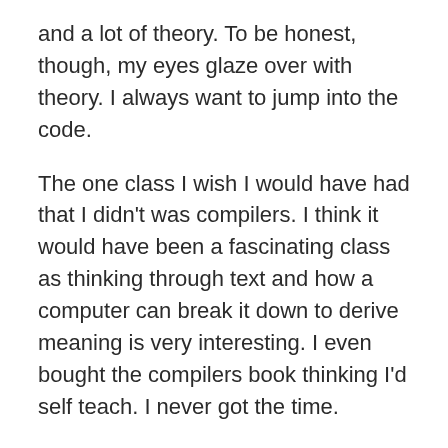and a lot of theory. To be honest, though, my eyes glaze over with theory. I always want to jump into the code.
The one class I wish I would have had that I didn't was compilers. I think it would have been a fascinating class as thinking through text and how a computer can break it down to derive meaning is very interesting. I even bought the compilers book thinking I'd self teach. I never got the time.
The irony, of course, is that Infinity Softworks hasn't developed an app without a big compiler on the back-end in 12 years. Our compiler breaks down mathematical equations and turns them into templates and results. The good news, though, is that I don't have to write it, update it or maintain it. My technical partner takes care of that!